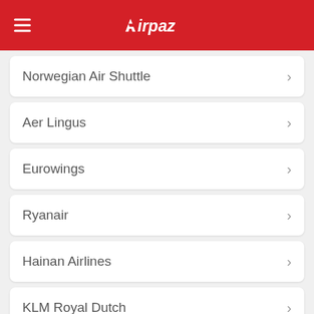Airpaz
Norwegian Air Shuttle
Aer Lingus
Eurowings
Ryanair
Hainan Airlines
KLM Royal Dutch